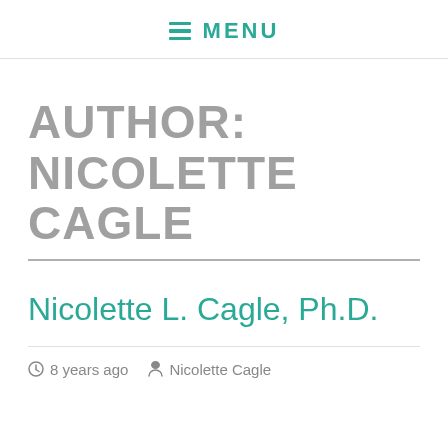MENU
AUTHOR: NICOLETTE CAGLE
Nicolette L. Cagle, Ph.D.
8 years ago   Nicolette Cagle